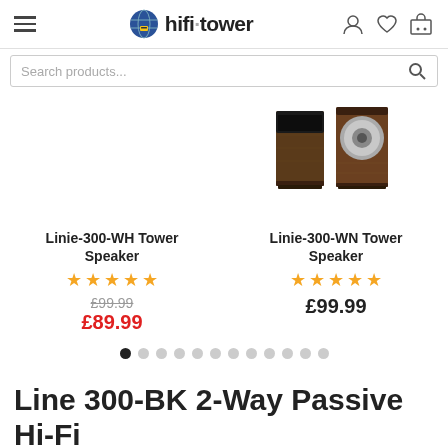hifi-tower navigation header with hamburger menu, logo, search bar, and user/wishlist/cart icons
[Figure (screenshot): Two tower speakers (Linie-300-WN) shown in product listing on right side, partially visible]
Linie-300-WH Tower Speaker
★★★★★ (5 stars)
£99.99 (strikethrough) £89.99 (sale price)
Linie-300-WN Tower Speaker
★★★★★ (5 stars)
£99.99
Carousel dots, 12 dots, first active
Line 300-BK 2-Way Passive Hi-Fi